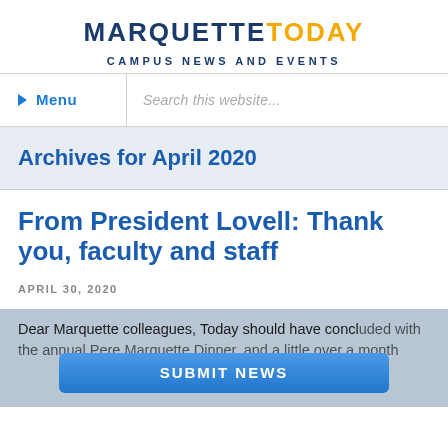MARQUETTE TODAY
CAMPUS NEWS AND EVENTS
Menu
Search this website...
Archives for April 2020
From President Lovell: Thank you, faculty and staff
APRIL 30, 2020
Dear Marquette colleagues, Today should have concluded with the annual Pere Marquette Dinner, and a little over a month
SUBMIT NEWS